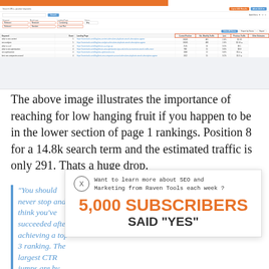[Figure (screenshot): Screenshot of an SEO keyword ranking tool interface showing a data table with keyword rankings, search volumes, URLs, and performance metrics. Several rows are highlighted with red/orange borders indicating notable entries. Columns include keyword name, search volume, URL, ranking position, estimated traffic, and other metrics.]
The above image illustrates the importance of reaching for low hanging fruit if you happen to be in the lower section of page 1 rankings. Position 8 for a 14.8k search term and the estimated traffic is only 291. Thats a huge drop.
[Figure (infographic): Popup overlay with an X close button, text reading 'Want to learn more about SEO and Marketing from Raven Tools each week ?' followed by large bold text '5,000 SUBSCRIBERS SAID "YES"']
"You should never stop and think you've succeeded after achieving a top 3 ranking. The largest CTR jumps are by going from position 2 to 1. This is even more important today, where SERPs are often filled with more ads, featured